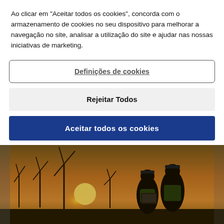Ao clicar em "Aceitar todos os cookies", concorda com o armazenamento de cookies no seu dispositivo para melhorar a navegação no site, analisar a utilização do site e ajudar nas nossas iniciativas de marketing.
Definições de cookies
Rejeitar Todos
Aceitar todos os cookies
[Figure (photo): Two construction workers in hard hats and high-visibility vests standing at sunset in a wind farm, one holding a laptop. Wind turbines and orange sunset sky visible in the background.]